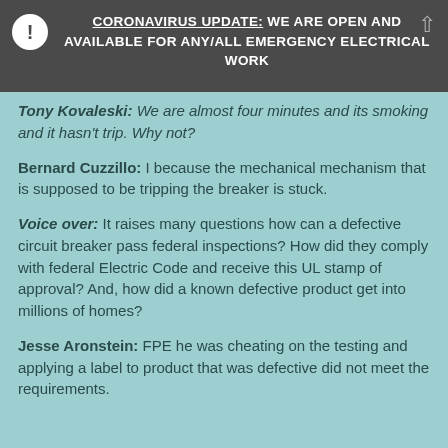CORONAVIRUS UPDATE: WE ARE OPEN AND AVAILABLE FOR ANY/ALL EMERGENCY ELECTRICAL WORK
Tony Kovaleski: We are almost four minutes and its smoking and it hasn't trip. Why not?
Bernard Cuzzillo: I because the mechanical mechanism that is supposed to be tripping the breaker is stuck.
Voice over: It raises many questions how can a defective circuit breaker pass federal inspections? How did they comply with federal Electric Code and receive this UL stamp of approval? And, how did a known defective product get into millions of homes?
Jesse Aronstein: FPE he was cheating on the testing and applying a label to product that was defective did not meet the requirements.